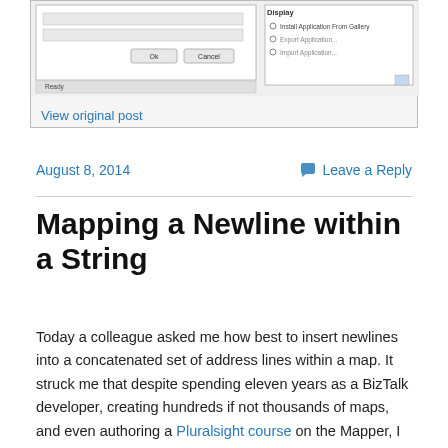[Figure (screenshot): Screenshot of a Windows application dialog with OK and Cancel buttons, a Display panel with options like Install Application From Gallery, Export Application, Import Application, and a Ready status bar at the bottom.]
View original post
August 8, 2014
Leave a Reply
Mapping a Newline within a String
Today a colleague asked me how best to insert newlines into a concatenated set of address lines within a map. It struck me that despite spending eleven years as a BizTalk developer, creating hundreds if not thousands of maps, and even authoring a Pluralsight course on the Mapper, I have never actually attempted to do this previously.